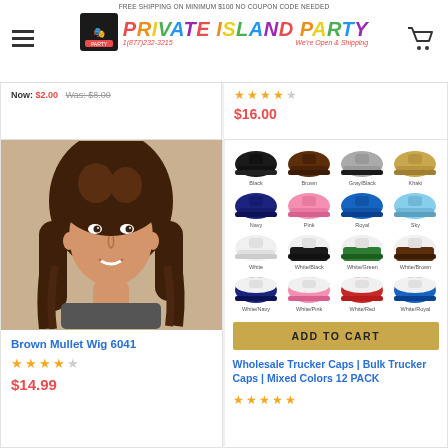FREE SHIPPING ON MINIMUM $100 NO COUPON CODE NEEDED — Private Island Party — 1(877)232-3215 — We're Open & Shipping
Now: $2.00  Was: $8.00
★★★★☆  $16.00
[Figure (photo): Man wearing brown mullet wig, 1980s style, brown layered hair]
Brown Mullet Wig 6041
★★★★☆  $14.99
[Figure (photo): Grid of 16 trucker/baseball caps in various colors: Black, Brown, Gray/Black, Khaki, Navy, Pink, Royal, Sky, White, White/Black, White/Green, White/Brown, White/Navy, White/Pink, White/Red, White/Royal]
ADD TO CART
Wholesale Trucker Caps | Bulk Trucker Caps | Mixed Colors 12 PACK
★★★★★